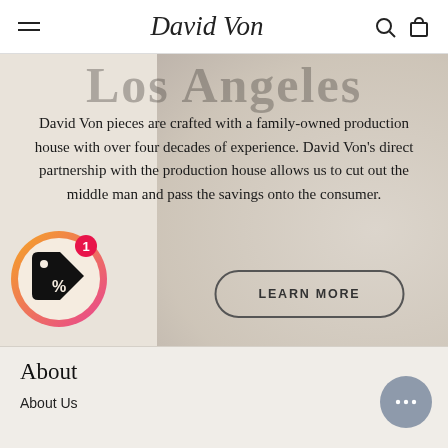David Von
Los Angeles
David Von pieces are crafted with a family-owned production house with over four decades of experience. David Von's direct partnership with the production house allows us to cut out the middle man and pass the savings onto the consumer.
[Figure (illustration): Coupon/discount tag icon inside a circular gradient (orange to pink) ring with a red badge showing '1']
LEARN MORE
About
About Us